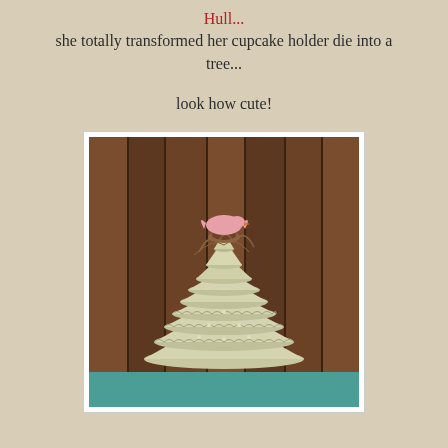Hull...
she totally transformed her cupcake holder die into a tree...
look how cute!
[Figure (photo): A decorative tree made from a cupcake holder die, shaped like a cone with scalloped white/cream layered tiers, topped with a bird nest and pink bird, set against a wooden plank background with a teal surface at the bottom.]